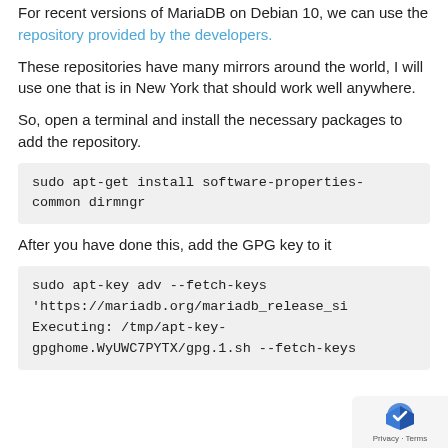For recent versions of MariaDB on Debian 10, we can use the repository provided by the developers.
These repositories have many mirrors around the world, I will use one that is in New York that should work well anywhere.
So, open a terminal and install the necessary packages to add the repository.
sudo apt-get install software-properties-common dirmngr
After you have done this, add the GPG key to it
sudo apt-key adv --fetch-keys 'https://mariadb.org/mariadb_release_si
Executing: /tmp/apt-key-gpghome.WyUWC7PYTX/gpg.1.sh --fetch-keys